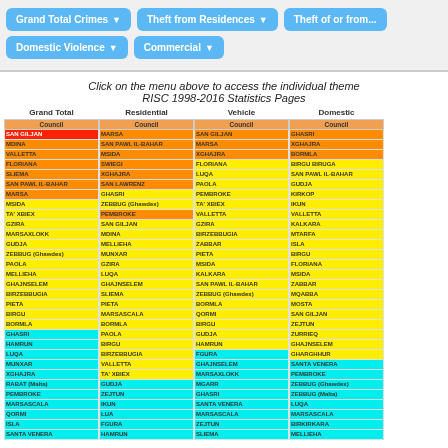[Figure (screenshot): Navigation buttons: Grand Total Crimes, Theft from Residences, Theft of or from, Domestic Violence, Commercial]
Click on the menu above to access the individual theme RISC 1998-2016 Statistics Pages
| Grand Total / Council |
| --- |
| SAN GILJAN |
| MDINA |
| VALLETTA |
| FLORIANA |
| SLIEMA |
| SAN PAWL IL-BAHAR |
| MARSA |
| MSIDA |
| TA' XBIEX |
| GZIRA |
| MARSAXLOKK |
| GUDJA |
| ZEBBUG (Ghawdex) |
| PAOLA |
| MELLIEHA |
| GHAJNSELEM |
| BIRZEBBUGIA |
| PIETA |
| BIRGU |
| BORMLA |
| GHASRI |
| HAMRUN |
| LUQA |
| MUNXAR |
| XGHAJRA |
| RABAT (Malta) |
| PEMBROKE |
| MARSASCALA |
| QORMI |
| ISLA |
| SANTA VENERA |
| Residential / Council |
| --- |
| MARSA |
| SAN PAWL IL-BAHAR |
| MSIDA |
| SWIEGI |
| XGHAJRA |
| SAN LAWRENZ |
| GHASRI |
| ZEBBUG (Ghawdex) |
| PEMBROKE |
| SAN GILJAN |
| MDINA |
| MELLIEHA |
| MUNXAR |
| GZIRA |
| LUQA |
| GHAJNSELEM |
| SLIEMA |
| PIETA |
| MARSASCALA |
| BORMLA |
| PAOLA |
| BIRGU |
| BIRZEBBUGIA |
| VALLETTA |
| TA' XBIEX |
| GUDJA |
| ZEJTUN |
| IKUN |
| LUA |
| FGURA |
| HAMRUN |
| Vehicle / Council |
| --- |
| SAN GILJAN |
| MARSA |
| XGHAJRA |
| FLORIANA |
| LUQA |
| PAOLA |
| PEMBROKE |
| TA' XBIEX |
| VALLETTA |
| GZIRA |
| BIRZEBBUGIA |
| ZABBAR |
| PIETA |
| MSIDA |
| KALKARA |
| SAN PAWL IL-BAHAR |
| ZEBBUG (Ghawdex) |
| BORMLA |
| QORMI |
| BIRGU |
| GUDJA |
| HAMRUN |
| FGURA |
| GHAJNSELEM |
| MARSAXLOKK |
| MGARR |
| GHASRI |
| SANTA VENERA |
| MARSASCALA |
| ZEJTUN |
| SLIEMA |
| Domestic / Council |
| --- |
| GHASRI |
| XGHAJRA |
| BORMLA |
| BIRGU BIRUGA |
| SAN PAWL IL-BAHAR |
| GUDJA |
| KIRKOP |
| IKUN |
| VALLETTA |
| KALKARA |
| MTARFA |
| ISLA |
| BIRGU |
| FLORIANA |
| MSIDA |
| ZABBAR |
| MQABBA |
| MOSTA |
| SAN GILJAN |
| ZEJTUN |
| ZURRIEQ |
| GHAJNSELEM |
| GHARGHHUR |
| SANTA VENERA |
| PEMBROKE |
| ZEBBUG (Ghawdex) |
| ZEBBUG (Malta) |
| LUQA |
| MARSASCALA |
| BIRKIRKARA |
| MELLIEHA |